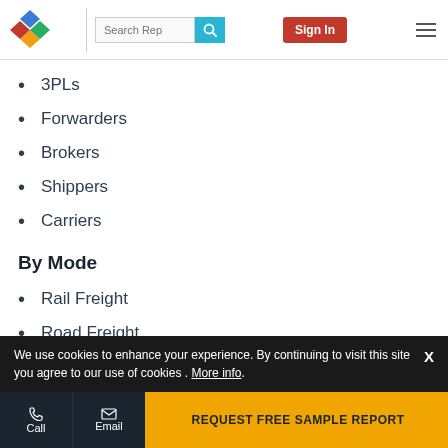Logo | Search Rep | Sign In
3PLs
Forwarders
Brokers
Shippers
Carriers
By Mode
Rail Freight
Road Freight
Ocean Freight
Air Freight
By Region
We use cookies to enhance your experience. By continuing to visit this site you agree to our use of cookies . More info.
Call | Email | REQUEST FREE SAMPLE REPORT